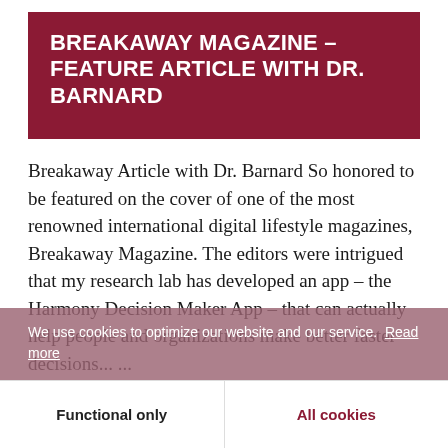BREAKAWAY MAGAZINE – FEATURE ARTICLE WITH DR. BARNARD
Breakaway Article with Dr. Barnard So honored to be featured on the cover of one of the most renowned international digital lifestyle magazines, Breakaway Magazine. The editors were intrigued that my research lab has developed an app – the Harmony Decision Maker App – that can actually help people and organizations make better faster decisions... ...
We use cookies to optimize our website and our service. Read more
Functional only
All cookies
Continue Reading >